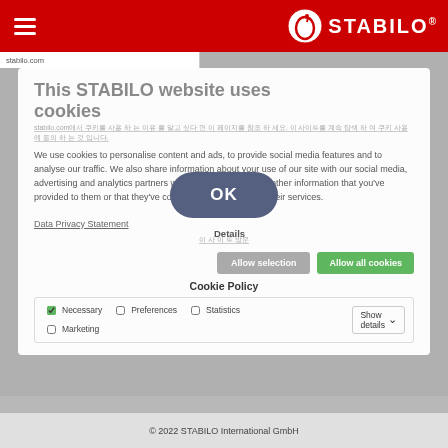STABILO — Navigation header with hamburger menu and STABILO logo
This STABILO website uses cookies
stabilo.com — [Korean text — cookie notice in Korean]
We use cookies to personalise content and ads, to provide social media features and to analyse our traffic. We also share information about your use of our site with our social media, advertising and analytics partners who may combine it with other information that you've provided to them or that they've collected from your use of their services.
Data Privacy Statement
[Korean text — additional privacy notice]
Allow selection
Allow all cookies
Cookie Policy
Necessary  Preferences  Statistics  Marketing  Show details
© 2022 STABILO International GmbH